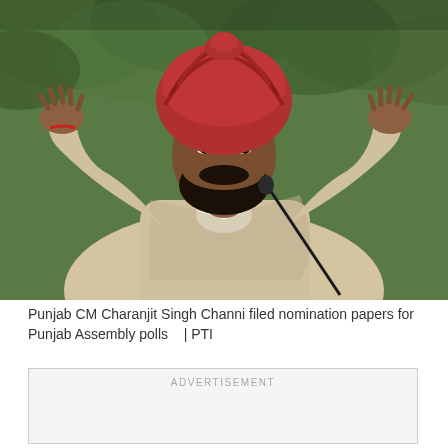[Figure (photo): Punjab CM Charanjit Singh Channi speaking at a podium with a microphone, wearing a red turban and beige kurta, hands raised, against a background of green trees.]
Punjab CM Charanjit Singh Channi filed nomination papers for Punjab Assembly polls    | PTI
ADVERTISEMENT